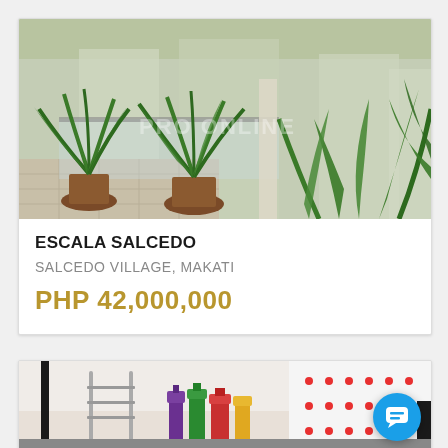[Figure (photo): Balcony or terrace area with multiple large potted palm and tropical plants, glass railing visible, buildings in background, watermarked real estate listing photo]
ESCALA SALCEDO
SALCEDO VILLAGE, MAKATI
PHP 42,000,000
[Figure (photo): Partial view of a bathroom or utility area with cleaning supplies and rack, partially visible at bottom of page]